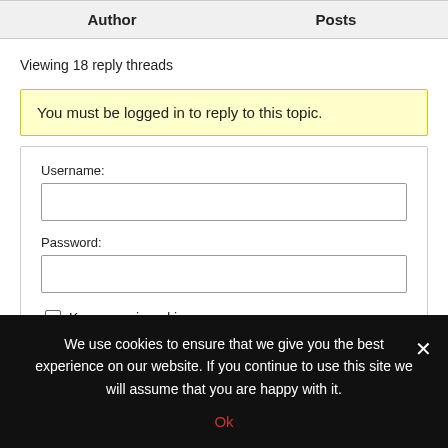| Author | Posts |
| --- | --- |
Viewing 18 reply threads
You must be logged in to reply to this topic.
Username:
Password:
Keep me signed in
We use cookies to ensure that we give you the best experience on our website. If you continue to use this site we will assume that you are happy with it.
Ok